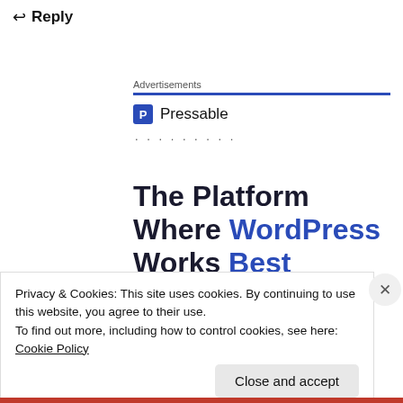Reply
Advertisements
[Figure (logo): Pressable logo: blue square with white P letter, followed by text 'Pressable' and a row of dots]
The Platform Where WordPress Works Best
Privacy & Cookies: This site uses cookies. By continuing to use this website, you agree to their use.
To find out more, including how to control cookies, see here: Cookie Policy
Close and accept